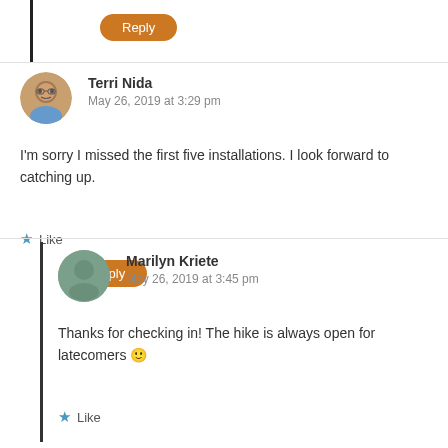[Figure (illustration): Orange Reply button at top, partially cut off, with vertical black bar on left]
[Figure (photo): Terri Nida avatar - person with glasses outdoors]
Terri Nida
May 26, 2019 at 3:29 pm
I’m sorry I missed the first five installations. I look forward to catching up.
★ Like
[Figure (illustration): Orange Reply button]
[Figure (illustration): Marilyn Kriete avatar - plain gray-green circle]
Marilyn Kriete
May 26, 2019 at 3:45 pm
Thanks for checking in! The hike is always open for latecomers 🙂
★ Like